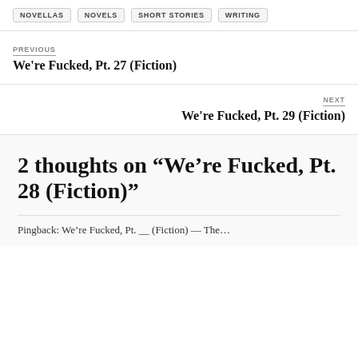NOVELLAS  NOVELS  SHORT STORIES  WRITING
PREVIOUS
We're Fucked, Pt. 27 (Fiction)
NEXT
We're Fucked, Pt. 29 (Fiction)
2 thoughts on “We’re Fucked, Pt. 28 (Fiction)”
Pingback: We're Fucked, Pt. __ (Fiction) — The...